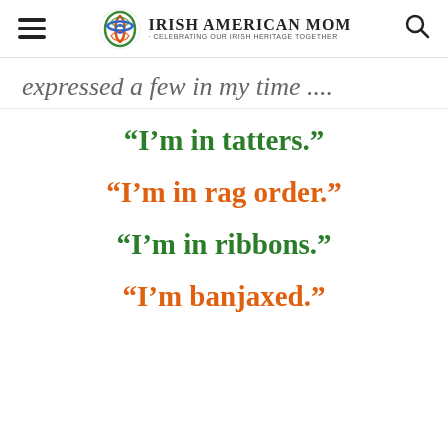Irish American Mom - Celebrating Our Irish Heritage Together
expressed a few in my time ....
“I’m in tatters.”
“I’m in rag order.”
“I’m in ribbons.”
“I’m banjaxed.”